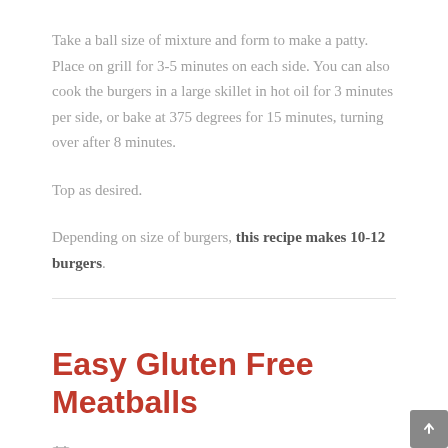Take a ball size of mixture and form to make a patty. Place on grill for 3-5 minutes on each side. You can also cook the burgers in a large skillet in hot oil for 3 minutes per side, or bake at 375 degrees for 15 minutes, turning over after 8 minutes.
Top as desired.
Depending on size of burgers, this recipe makes 10-12 burgers.
Easy Gluten Free Meatballs
Cooking Videos / Dairy Free / Gluten Free -
0 Comments